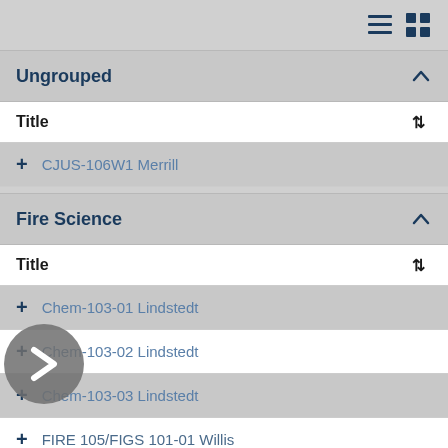Ungrouped
Title
CJUS-106W1 Merrill
Fire Science
Title
Chem-103-01 Lindstedt
Chem-103-02 Lindstedt
Chem-103-03 Lindstedt
FIRE 105/FIGS 101-01 Willis
FIRE 125-01 and 02 Willis
FIRE-155-01 Lindstedt